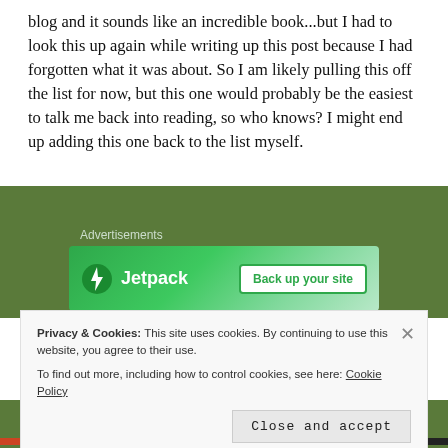blog and it sounds like an incredible book...but I had to look this up again while writing up this post because I had forgotten what it was about. So I am likely pulling this off the list for now, but this one would probably be the easiest to talk me back into reading, so who knows? I might end up adding this one back to the list myself.
[Figure (other): Jetpack advertisement banner with green background. Shows Jetpack logo (lightning bolt icon) and text 'Jetpack' with a white button labeled 'Back up your site'. Has 'Advertisements' label above.]
Arena: Part One by Michael D Withrow. I think I added this one because of a review I saw on it, but if I think about it
Privacy & Cookies: This site uses cookies. By continuing to use this website, you agree to their use.
To find out more, including how to control cookies, see here: Cookie Policy
Close and accept